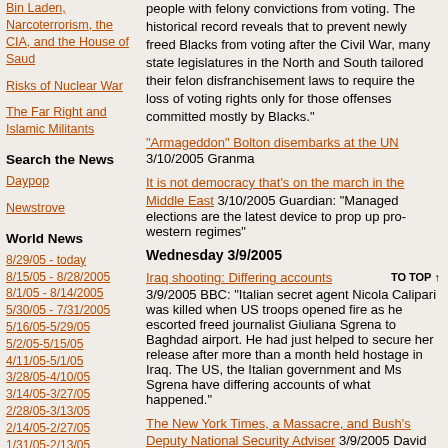Bin Laden, Narcoterrorism, the CIA, and the House of Saud
Risks of Nuclear War
The Far Right and Islamic Militants
Search the News
Daypop
Newstrove
World News
8/29/05 - today
8/15/05 - 8/28/2005
8/1/05 - 8/14/2005
5/30/05 - 7/31/2005
5/16/05-5/29/05
5/2/05-5/15/05
4/11/05-5/1/05
3/28/05-4/10/05
3/14/05-3/27/05
2/28/05-3/13/05
2/14/05-2/27/05
1/31/05-2/13/05
1/10/04 - 1/30/05
people with felony convictions from voting. The historical record reveals that to prevent newly freed Blacks from voting after the Civil War, many state legislatures in the North and South tailored their felon disfranchisement laws to require the loss of voting rights only for those offenses committed mostly by Blacks."
"Armageddon" Bolton disembarks at the UN  3/10/2005 Granma
It is not democracy that's on the march in the Middle East  3/10/2005 Guardian: "Managed elections are the latest device to prop up pro-western regimes"
Wednesday  3/9/2005
Iraq shooting: Differing accounts  3/9/2005 BBC: "Italian secret agent Nicola Calipari was killed when US troops opened fire as he escorted freed journalist Giuliana Sgrena to Baghdad airport. He had just helped to secure her release after more than a month held hostage in Iraq. The US, the Italian government and Ms Sgrena have differing accounts of what happened."
The New York Times, a Massacre, and Bush's Deputy National Security Adviser  3/9/2005 David Corn